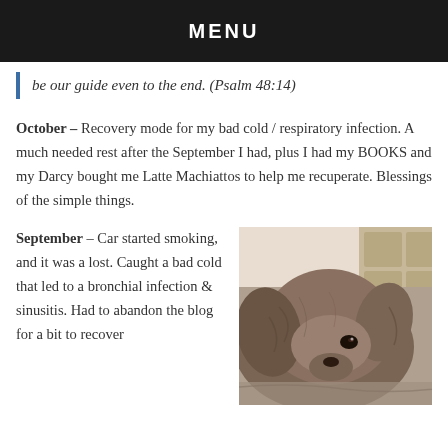MENU
be our guide even to the end. (Psalm 48:14)
October – Recovery mode for my bad cold / respiratory infection. A much needed rest after the September I had, plus I had my BOOKS and my Darcy bought me Latte Machiattos to help me recuperate. Blessings of the simple things.
September – Car started smoking, and it was a lost. Caught a bad cold that led to a bronchial infection & sinusitis. Had to abandon the blog for a bit to recover
[Figure (photo): Close-up photo of a brown/grey fluffy dog resting, with its head visible looking toward the camera. Indoor setting visible in background.]